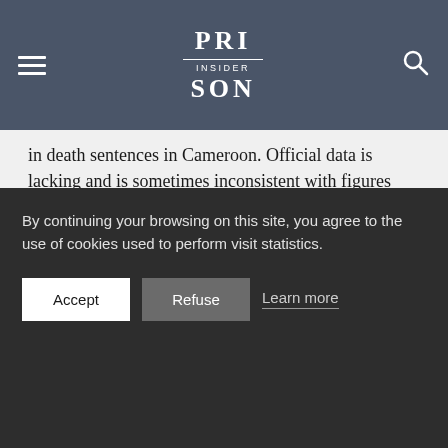PRISON INSIDER
in death sentences in Cameroon. Official data is lacking and is sometimes inconsistent with figures published by civil society organisations.
READ MORE
BACK TO LIST
By continuing your browsing on this site, you agree to the use of cookies used to perform visit statistics.